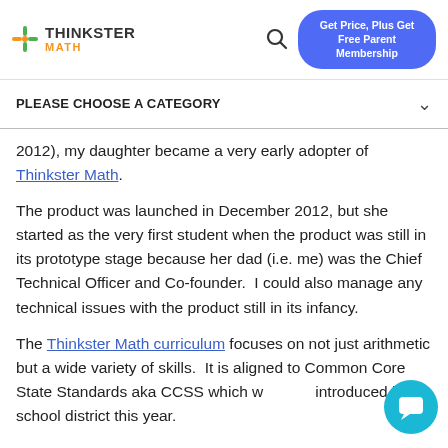Thinkster Math | Get Price, Plus Get Free Parent Membership
PLEASE CHOOSE A CATEGORY
2012), my daughter became a very early adopter of Thinkster Math.
The product was launched in December 2012, but she started as the very first student when the product was still in its prototype stage because her dad (i.e. me) was the Chief Technical Officer and Co-founder.  I could also manage any technical issues with the product still in its infancy.
The Thinkster Math curriculum focuses on not just arithmetic but a wide variety of skills.  It is aligned to Common Core State Standards aka CCSS which was introduced in our school district this year.